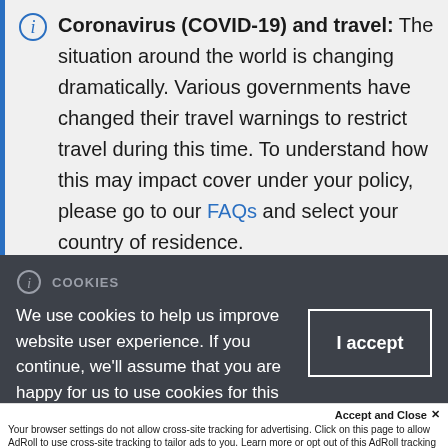Coronavirus (COVID-19) and travel: The situation around the world is changing dramatically. Various governments have changed their travel warnings to restrict travel during this time. To understand how this may impact cover under your policy, please go to our FAQs and select your country of residence.
COOKIES
We use cookies to help us improve website user experience. If you continue, we'll assume that you are happy for us to use cookies for this
Accept and Close ×
Your browser settings do not allow cross-site tracking for advertising. Click on this page to allow AdRoll to use cross-site tracking to tailor ads to you. Learn more or opt out of this AdRoll tracking by clicking here. This message only appears once.